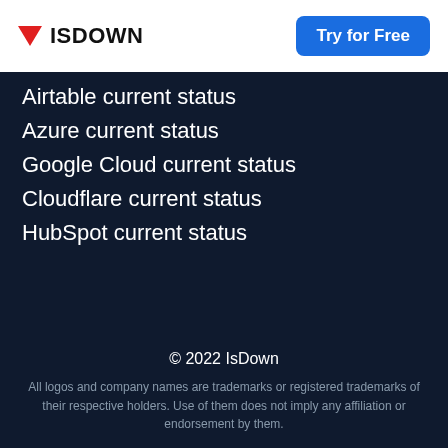ISDOWN | Try for Free
Airtable current status
Azure current status
Google Cloud current status
Cloudflare current status
HubSpot current status
© 2022 IsDown
All logos and company names are trademarks or registered trademarks of their respective holders. Use of them does not imply any affiliation or endorsement by them.